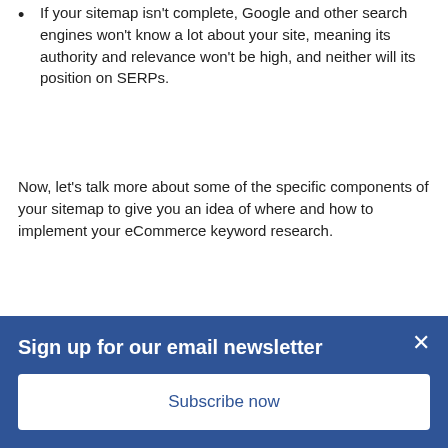If your sitemap isn't complete, Google and other search engines won't know a lot about your site, meaning its authority and relevance won't be high, and neither will its position on SERPs.
Now, let's talk more about some of the specific components of your sitemap to give you an idea of where and how to implement your eCommerce keyword research.
Implementing Your Keyword
Sign up for our email newsletter
Subscribe now